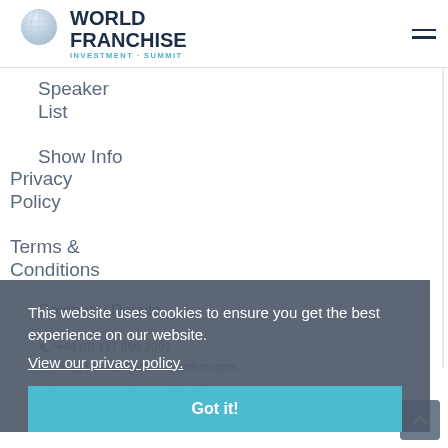WORLD FRANCHISE INVESTMENT · SUMMIT
Speaker List
Privacy Policy
Show Info
Terms & Conditions
Company Details
+44 (0) 117 990 2091
chugh.baxter@comotliazrium.com
4 Colston Avenue, Bristol, BS1 2ST
Copyright © 2009–2022MFV Events. All rights reserved.
This website uses cookies to ensure you get the best experience on our website. View our privacy policy.
Got it!